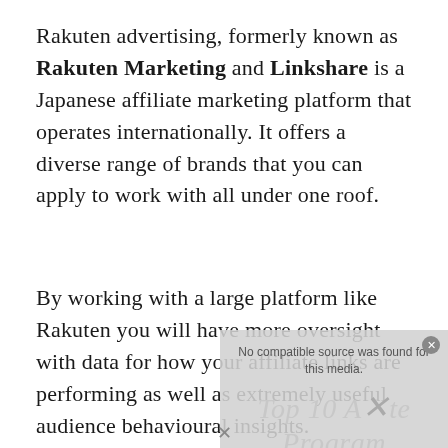Rakuten advertising, formerly known as Rakuten Marketing and Linkshare is a Japanese affiliate marketing platform that operates internationally. It offers a diverse range of brands that you can apply to work with all under one roof.
By working with a large platform like Rakuten you will have more oversight with data for how your affiliate links are performing as well as extremely useful audience behavioural insights.
[Figure (other): A greyed-out overlay/advertisement box partially covering the text, showing 'No compatible source was found for this media.' and a watermark text 'Top 10 Affiliate Programs Lists' with an X close button.]